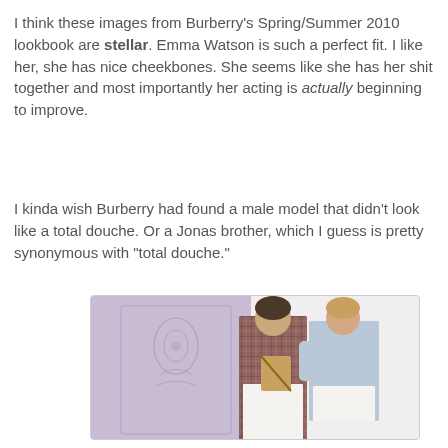I think these images from Burberry's Spring/Summer 2010 lookbook are stellar. Emma Watson is such a perfect fit. I like her, she has nice cheekbones. She seems like she has her shit together and most importantly her acting is actually beginning to improve.
I kinda wish Burberry had found a male model that didn't look like a total douche. Or a Jonas brother, which I guess is pretty synonymous with "total douche."
[Figure (photo): Burberry Spring/Summer 2010 lookbook photo featuring a young male model in a plaid shirt with white pants and a young woman (Emma Watson) in a light blue denim jacket and white shorts, posed against a white decorative wall background.]